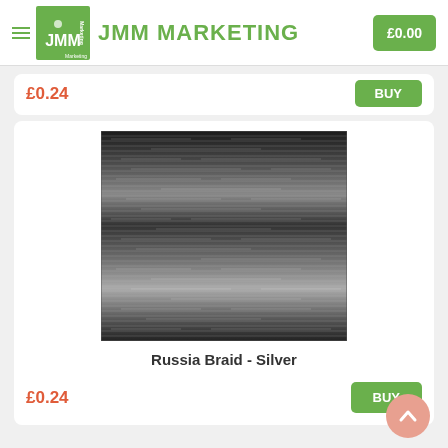JMM MARKETING | £0.00
£0.24
BUY
[Figure (photo): Close-up photo of Russia Braid - Silver metallic braided thread/trim with shiny silver strands on dark background]
Russia Braid - Silver
£0.24
BUY